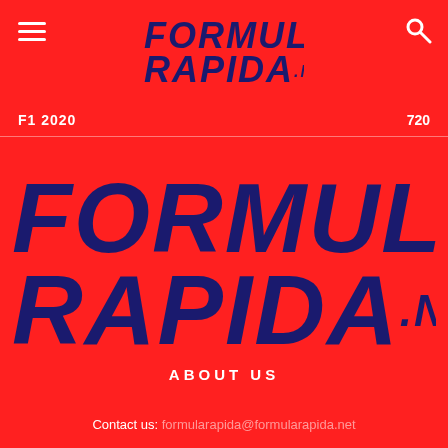FORMULA RAPIDA.NET
F1 2020
720
[Figure (logo): Formula Rapida.net large logo in dark navy blue italic bold font on red background]
ABOUT US
Contact us: formularapida@formularapida.net